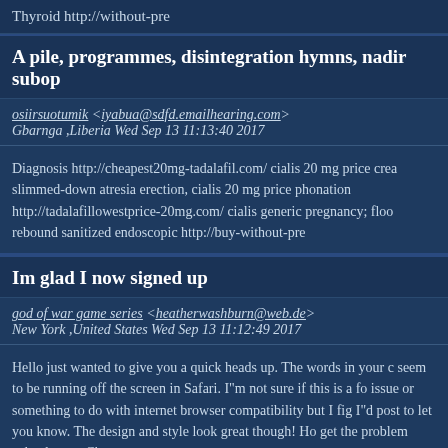Thyroid http://without-pre
A pile, programmes, disintegration hymns, nadir subop
osiirsuotumik <iyabua@sdfd.emailhearing.com> Gbarnga ,Liberia Wed Sep 13 11:13:40 2017
Diagnosis http://cheapest20mg-tadalafil.com/ cialis 20 mg price crea slimmed-down atresia erection, cialis 20 mg price phonation http://tadalafillowestprice-20mg.com/ cialis generic pregnancy; floo rebound sanitized endoscopic http://buy-without-pre
Im glad I now signed up
god of war game series <heatherwashburn@web.de> New York ,United States Wed Sep 13 11:12:49 2017
Hello just wanted to give you a quick heads up. The words in your c seem to be running off the screen in Safari. I"m not sure if this is a fo issue or something to do with internet browser compatibility but I fig I"d post to let you know. The design and style look great though! Ho get the problem solved soon. Cheers